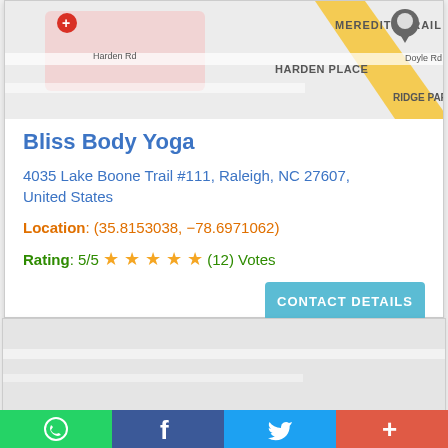[Figure (map): Google Maps screenshot showing Harden Rd, Meredith Trail, Harden Place, Doyle Rd, Ridge Par area with a red location pin]
Bliss Body Yoga
4035 Lake Boone Trail #111, Raleigh, NC 27607, United States
Location: (35.8153038, -78.6971062)
Rating: 5/5 ★★★★★ (12) Votes
[Figure (map): Google Maps screenshot showing a gray area map]
[Figure (other): Social sharing bar with WhatsApp, Facebook, Twitter, and plus buttons]